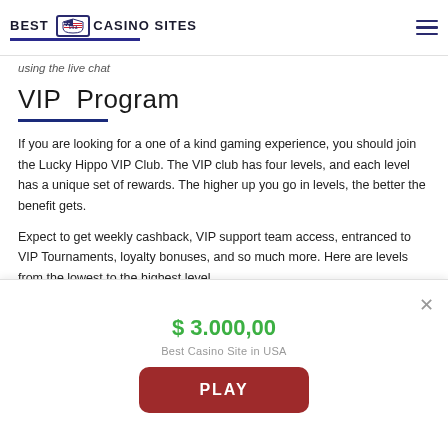BEST USA CASINO SITES
using the live chat
VIP Program
If you are looking for a one of a kind gaming experience, you should join the Lucky Hippo VIP Club. The VIP club has four levels, and each level has a unique set of rewards. The higher up you go in levels, the better the benefit gets.
Expect to get weekly cashback, VIP support team access, entranced to VIP Tournaments, loyalty bonuses, and so much more. Here are levels from the lowest to the highest level
Silver Plus
$ 3.000,00
Best Casino Site in USA
PLAY